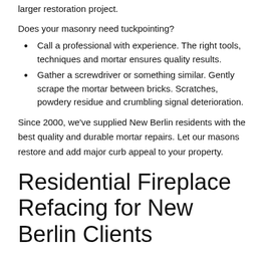larger restoration project.
Does your masonry need tuckpointing?
Call a professional with experience. The right tools, techniques and mortar ensures quality results.
Gather a screwdriver or something similar. Gently scrape the mortar between bricks. Scratches, powdery residue and crumbling signal deterioration.
Since 2000, we've supplied New Berlin residents with the best quality and durable mortar repairs. Let our masons restore and add major curb appeal to your property.
Residential Fireplace Refacing for New Berlin Clients